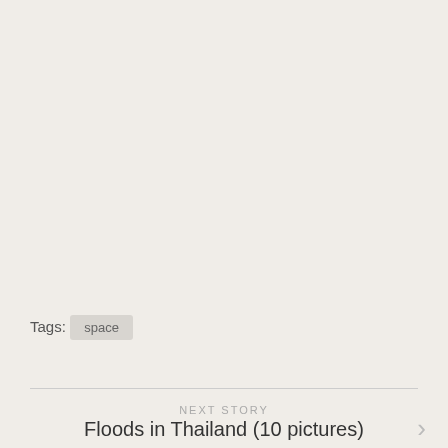Tags:  space
NEXT STORY
Floods in Thailand (10 pictures)